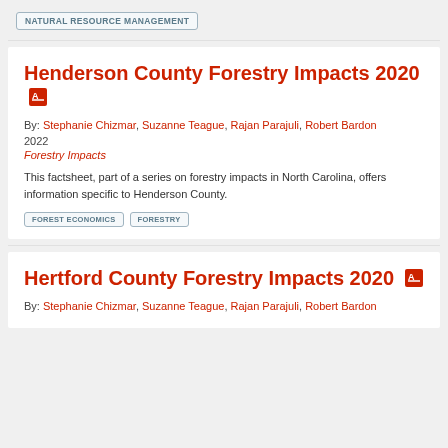NATURAL RESOURCE MANAGEMENT
Henderson County Forestry Impacts 2020
By: Stephanie Chizmar, Suzanne Teague, Rajan Parajuli, Robert Bardon
2022
Forestry Impacts
This factsheet, part of a series on forestry impacts in North Carolina, offers information specific to Henderson County.
FOREST ECONOMICS
FORESTRY
Hertford County Forestry Impacts 2020
By: Stephanie Chizmar, Suzanne Teague, Rajan Parajuli, Robert Bardon